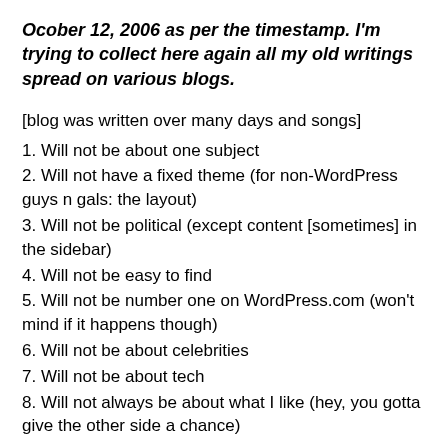Ocober 12, 2006 as per the timestamp. I'm trying to collect here again all my old writings spread on various blogs.
[blog was written over many days and songs]
1. Will not be about one subject
2. Will not have a fixed theme (for non-WordPress guys n gals: the layout)
3. Will not be political (except content [sometimes] in the sidebar)
4. Will not be easy to find
5. Will not be number one on WordPress.com (won't mind if it happens though)
6. Will not be about celebrities
7. Will not be about tech
8. Will not always be about what I like (hey, you gotta give the other side a chance)